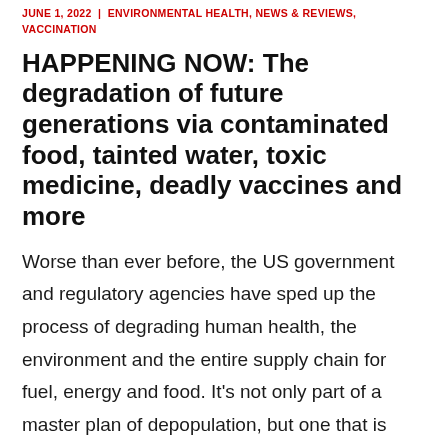JUNE 1, 2022 | ENVIRONMENTAL HEALTH, NEWS & REVIEWS, VACCINATION
HAPPENING NOW: The degradation of future generations via contaminated food, tainted water, toxic medicine, deadly vaccines and more
Worse than ever before, the US government and regulatory agencies have sped up the process of degrading human health, the environment and the entire supply chain for fuel, energy and food. It's not only part of a master plan of depopulation, but one that is intended to sicken the populace so pitifully that they cannot …
CONTINUE READING